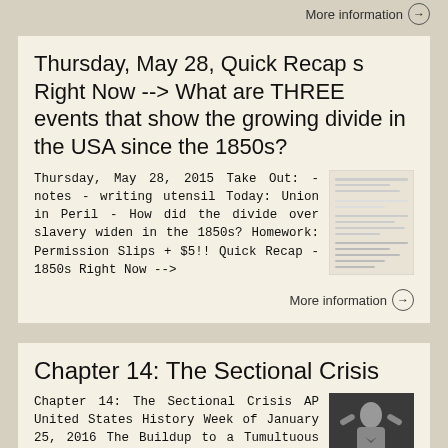More information →
Thursday, May 28, Quick Recap s Right Now --> What are THREE events that show the growing divide in the USA since the 1850s?
Thursday, May 28, 2015 Take Out: - notes - writing utensil Today: Union in Peril - How did the divide over slavery widen in the 1850s? Homework: Permission Slips + $5!! Quick Recap - 1850s Right Now -->
[Figure (screenshot): Thumbnail image of a document/slide with text lines]
More information →
Chapter 14: The Sectional Crisis
Chapter 14: The Sectional Crisis AP United States History Week of January 25, 2016 The Buildup to a Tumultuous Decade Both the Democrats and Whigs wanted to resolve the crisis Emotion and ideology became
[Figure (photo): Thumbnail photo of a person in formal attire with hands raised]